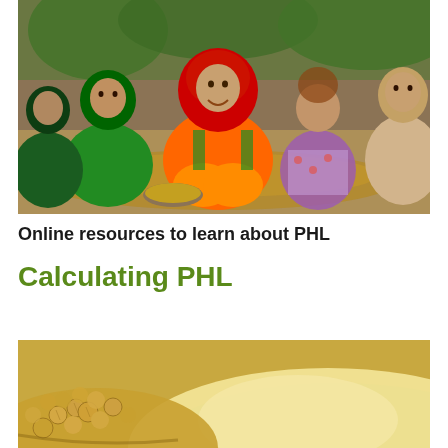[Figure (photo): Group of women and children sitting together outdoors, smiling, wearing colorful traditional clothing in shades of red, orange, green, and blue.]
Online resources to learn about PHL
Calculating PHL
[Figure (photo): Close-up photo of soybeans and powder/flour, showing round yellow-tan beans on the left and a mound of fine pale yellow powder on the right.]